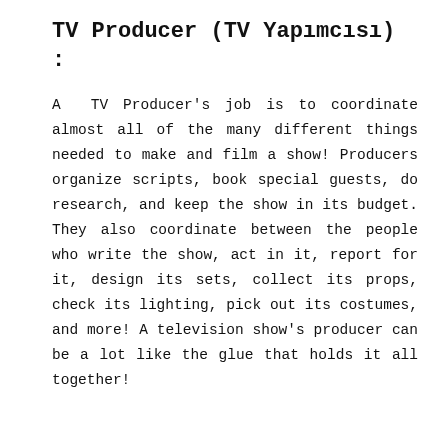TV Producer (TV Yapımcısı) :
A TV Producer's job is to coordinate almost all of the many different things needed to make and film a show! Producers organize scripts, book special guests, do research, and keep the show in its budget. They also coordinate between the people who write the show, act in it, report for it, design its sets, collect its props, check its lighting, pick out its costumes, and more! A television show's producer can be a lot like the glue that holds it all together!